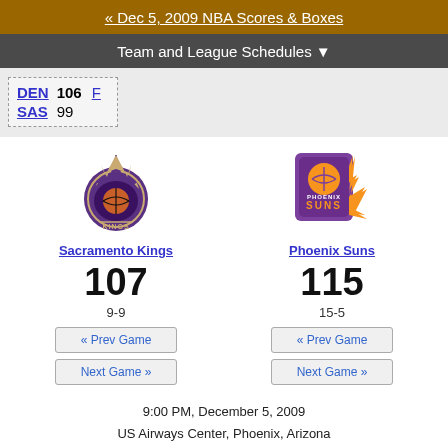« Dec 5, 2009 NBA Scores & Boxes
Team and League Schedules ▼
| Team | Score | Status |
| --- | --- | --- |
| DEN | 106 | F |
| SAS | 99 |  |
[Figure (logo): Sacramento Kings logo]
Sacramento Kings
107
9-9
[Figure (logo): Phoenix Suns logo]
Phoenix Suns
115
15-5
« Prev Game
Next Game »
« Prev Game
Next Game »
9:00 PM, December 5, 2009
US Airways Center, Phoenix, Arizona
Logos via Sports Logos.net / About logos